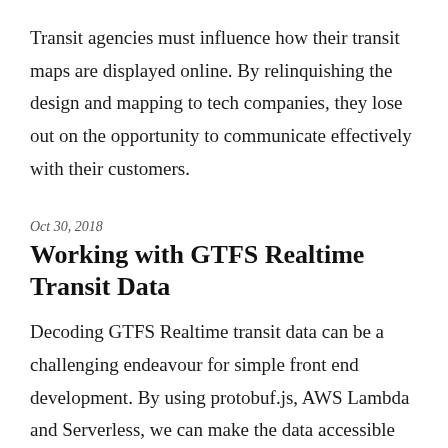Transit agencies must influence how their transit maps are displayed online. By relinquishing the design and mapping to tech companies, they lose out on the opportunity to communicate effectively with their customers.
Oct 30, 2018
Working with GTFS Realtime Transit Data
Decoding GTFS Realtime transit data can be a challenging endeavour for simple front end development. By using protobuf.js, AWS Lambda and Serverless, we can make the data accessible for web application and visualizations.